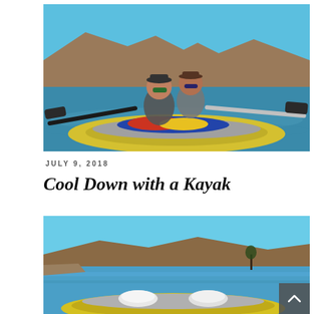[Figure (photo): Two people wearing sunglasses and life vests sitting in a yellow inflatable kayak on a blue-green lake, with brown rocky hills in the background and a colorful flag/towel in the front of the kayak. Paddles extend to each side.]
JULY 9, 2018
Cool Down with a Kayak
[Figure (photo): An empty yellow inflatable kayak with two white seats on a calm blue lake, with brown desert hills in the background under a clear blue sky.]